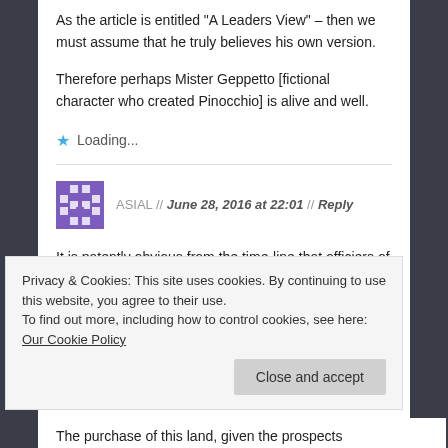As the article is entitled “A Leaders View” – then we must assume that he truly believes his own version.
Therefore perhaps Mister Geppetto [fictional character who created Pinocchio] is alive and well.
Loading...
ASIAL // June 28, 2016 at 22:01 // Reply
It is patently obvious from the time-line that officiers of SDC were aware of the potential
Privacy & Cookies: This site uses cookies. By continuing to use this website, you agree to their use.
To find out more, including how to control cookies, see here: Our Cookie Policy
Close and accept
The purchase of this land, given the prospects